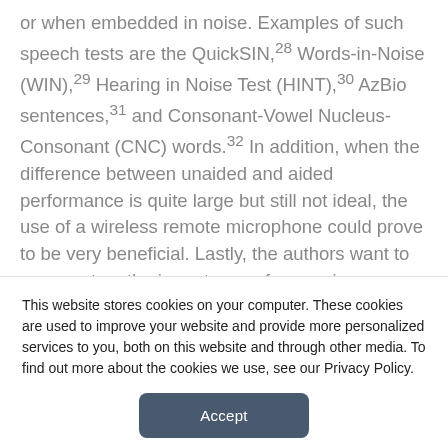or when embedded in noise. Examples of such speech tests are the QuickSIN,28 Words-in-Noise (WIN),29 Hearing in Noise Test (HINT),30 AzBio sentences,31 and Consonant-Vowel Nucleus-Consonant (CNC) words.32 In addition, when the difference between unaided and aided performance is quite large but still not ideal, the use of a wireless remote microphone could prove to be very beneficial. Lastly, the authors want to comment on the importance of assessing Maximum Power Output (MPO) of hearing devices to avoid loudness discomfort and to address any concerns with possibly damaging any residual
This website stores cookies on your computer. These cookies are used to improve your website and provide more personalized services to you, both on this website and through other media. To find out more about the cookies we use, see our Privacy Policy.